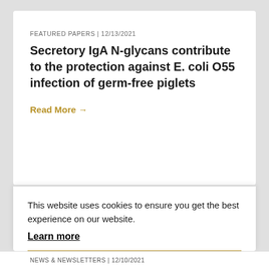FEATURED PAPERS | 12/13/2021
Secretory IgA N-glycans contribute to the protection against E. coli O55 infection of germ-free piglets
Read More →
This website uses cookies to ensure you get the best experience on our website.
Learn more
Got it!
NEWS & NEWSLETTERS | 12/10/2021